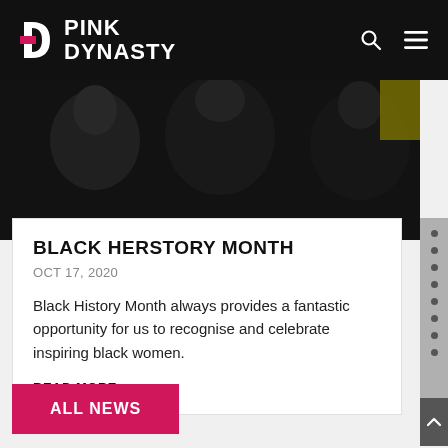PINK DYNASTY
[Figure (photo): Black and white photograph of women at what appears to be a protest or gathering, partially cropped]
BLACK HERSTORY MONTH
OCT 17, 2020
Black History Month always provides a fantastic opportunity for us to recognise and celebrate inspiring black women.
READ MORE